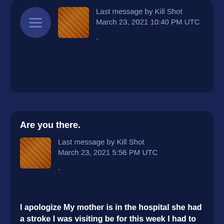Last message by Kill Shot
March 23, 2021 10:40 PM UTC
.
Are you there.
Last message by Kill Shot
March 23, 2021 5:56 PM UTC
.
I apologize My mother is in the hospital she had a stroke I was visiting be for this week I had to go to school so that is why I am on